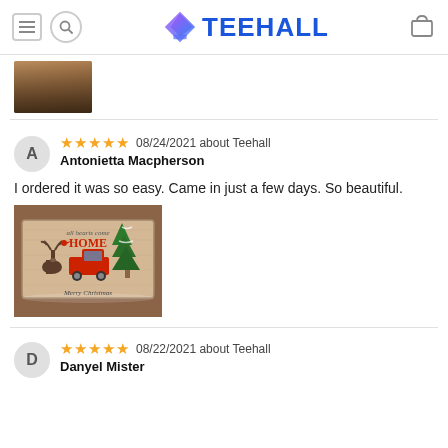TEEHALL
[Figure (photo): Partial cropped photo visible at top from previous review]
★★★★★ 08/24/2021 about Teehall
Antonietta Macpherson
I ordered it was so easy. Came in just a few days. So beautiful.
[Figure (photo): Photo of a decorative sign reading 'all hearts come HOME, Merry Christmas' with a moose, red truck, and Christmas trees]
★★★★★ 08/22/2021 about Teehall
Danyel Mister